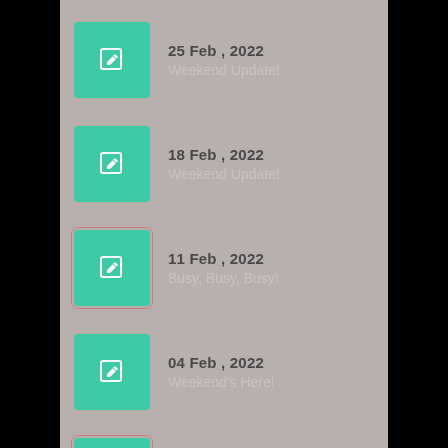25 Feb , 2022 — Weekend Update!
18 Feb , 2022 — Weekend Update!
11 Feb , 2022 — Busy, Busy, Busy!
04 Feb , 2022 — Weekend's Here!
28 Jan , 2022 — Weekend Update!